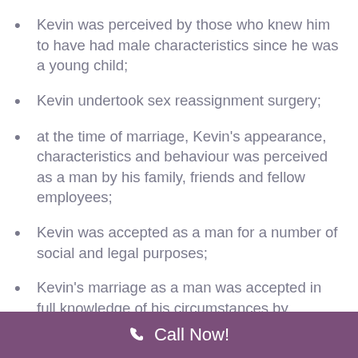Kevin was perceived by those who knew him to have had male characteristics since he was a young child;
Kevin undertook sex reassignment surgery;
at the time of marriage, Kevin's appearance, characteristics and behaviour was perceived as a man by his family, friends and fellow employees;
Kevin was accepted as a man for a number of social and legal purposes;
Kevin's marriage as a man was accepted in full knowledge of his circumstances by
Call Now!